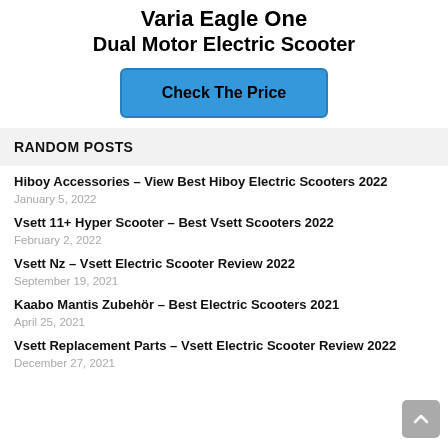Varia Eagle One Dual Motor Electric Scooter
Check The Price
RANDOM POSTS
Hiboy Accessories – View Best Hiboy Electric Scooters 2022
January 5, 2022
Vsett 11+ Hyper Scooter – Best Vsett Scooters 2022
February 2, 2022
Vsett Nz – Vsett Electric Scooter Review 2022
September 19, 2021
Kaabo Mantis Zubehör – Best Electric Scooters 2021
April 25, 2021
Vsett Replacement Parts – Vsett Electric Scooter Review 2022
December 27, 2021